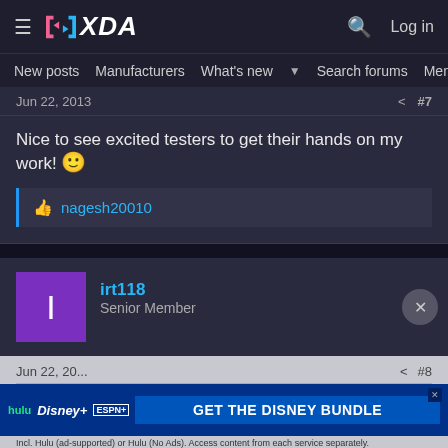XDA — New posts | Manufacturers | What's new | Search forums | Members
Jun 22, 2013  #7
Nice to see excited testers to get their hands on my work! 🙂
nagesh20010
irt118
Senior Member
Jun 22, 20...  #8
I installed the rom and now I can't find the solution to my problem?